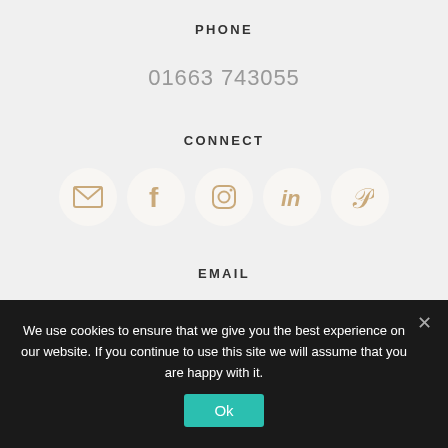PHONE
01663 743055
CONNECT
[Figure (infographic): Five social media icon circles: email envelope, Facebook f, Instagram camera, LinkedIn in, Pinterest p]
EMAIL
info@breathingremedies.co.uk
We use cookies to ensure that we give you the best experience on our website. If you continue to use this site we will assume that you are happy with it.
Ok